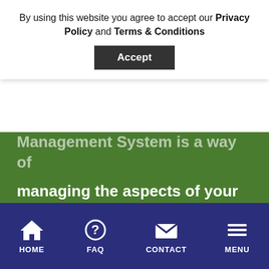By using this website you agree to accept our Privacy Policy and Terms & Conditions
Accept
Management System is a way of managing the aspects of your business which have a significant impact on the environment.
Improving your Environmental Management System (EMS) to the level required by ISO 14001, helps to protect it from reputational damage and benefit from cost savings. It can help increase your employee engagement and improve your legal and regulatory compliance.
HOME
FAQ
CONTACT
MENU